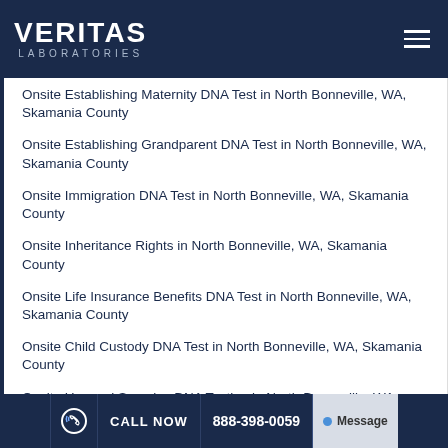[Figure (logo): Veritas Laboratories logo — white bold text on dark navy blue header bar with hamburger menu icon on the right]
Onsite Establishing Maternity DNA Test in North Bonneville, WA, Skamania County
Onsite Establishing Grandparent DNA Test in North Bonneville, WA, Skamania County
Onsite Immigration DNA Test in North Bonneville, WA, Skamania County
Onsite Inheritance Rights in North Bonneville, WA, Skamania County
Onsite Life Insurance Benefits DNA Test in North Bonneville, WA, Skamania County
Onsite Child Custody DNA Test in North Bonneville, WA, Skamania County
Onsite Unusual Samples DNA Testing in North Bonneville, WA, Skamania County
CALL NOW  888-398-0059  Message